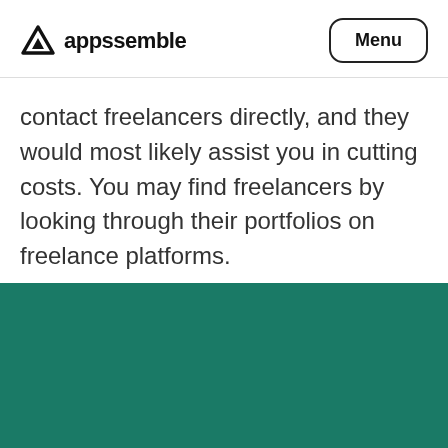appssemble | Menu
contact freelancers directly, and they would most likely assist you in cutting costs. You may find freelancers by looking through their portfolios on freelance platforms.
[Figure (other): Teal/dark green footer background section]